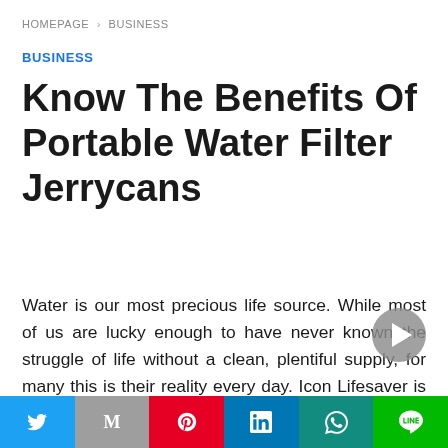HOMEPAGE > BUSINESS
BUSINESS
Know The Benefits Of Portable Water Filter Jerrycans
Water is our most precious life source. While most of us are lucky enough to have never known the struggle of life without a clean, plentiful supply, for many this is their reality every day. Icon Lifesaver is a company dedicated to changing this, by ensuring that more communities than ever have
Twitter | Mail | Pinterest | LinkedIn | WhatsApp | Line